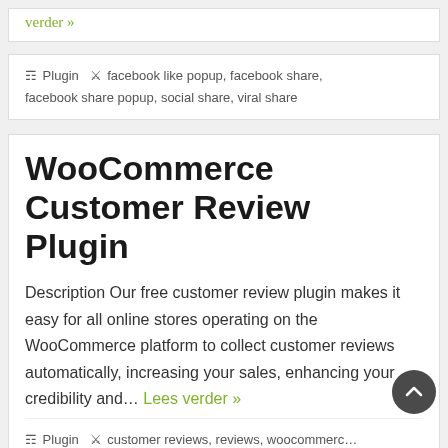verder »
Plugin  facebook like popup, facebook share, facebook share popup, social share, viral share
WooCommerce Customer Review Plugin
Description Our free customer review plugin makes it easy for all online stores operating on the WooCommerce platform to collect customer reviews automatically, increasing your sales, enhancing your credibility and... Lees verder »
Plugin  customer reviews, reviews, woocommerce, woocommerce plugins, woocommerce reviews